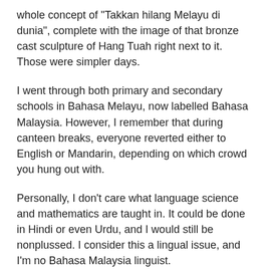whole concept of "Takkan hilang Melayu di dunia", complete with the image of that bronze cast sculpture of Hang Tuah right next to it. Those were simpler days.
I went through both primary and secondary schools in Bahasa Melayu, now labelled Bahasa Malaysia. However, I remember that during canteen breaks, everyone reverted either to English or Mandarin, depending on which crowd you hung out with.
Personally, I don't care what language science and mathematics are taught in. It could be done in Hindi or even Urdu, and I would still be nonplussed. I consider this a lingual issue, and I'm no Bahasa Malaysia linguist.
It should not be an issue involving political parties who are merely trying to win over the Malay Malaysian community, especially for those aspiring to lead...